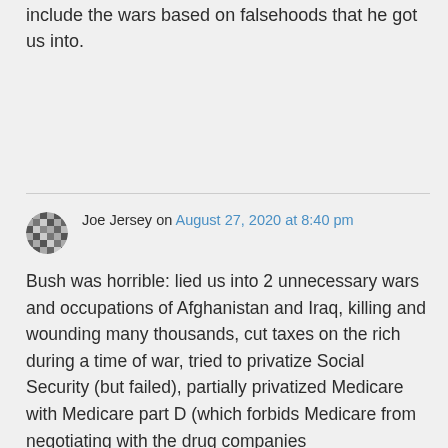include the wars based on falsehoods that he got us into.
Joe Jersey on August 27, 2020 at 8:40 pm
Bush was horrible: lied us into 2 unnecessary wars and occupations of Afghanistan and Iraq, killing and wounding many thousands, cut taxes on the rich during a time of war, tried to privatize Social Security (but failed), partially privatized Medicare with Medicare part D (which forbids Medicare from negotiating with the drug companies